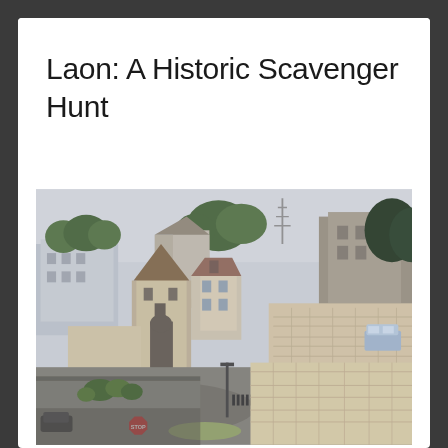Laon: A Historic Scavenger Hunt
[Figure (photo): Aerial/elevated view of Laon, France, showing historic medieval stone buildings, city walls, a gate tower with a conical roof, old town houses with French-style rooftops, trees, and a road curving below the fortified walls.]